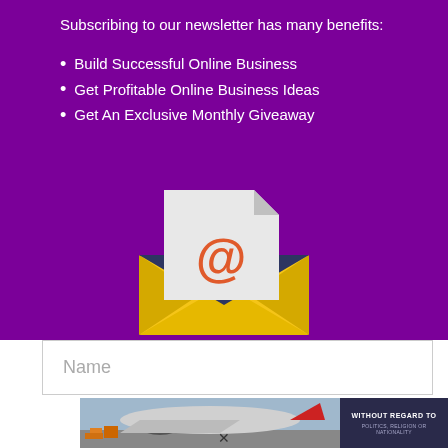Subscribing to our newsletter has many benefits:
Build Successful Online Business
Get Profitable Online Business Ideas
Get An Exclusive Monthly Giveaway
[Figure (illustration): Email envelope icon with @ symbol on a document/letter inside a yellow envelope with dark flap, on purple background]
Name
[Figure (photo): Advertisement banner showing cargo airplane being loaded, with text WITHOUT REGARD TO POLITICS, RELIGION OR NATIONALITY]